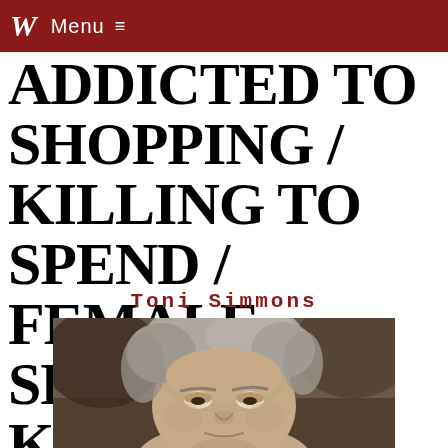W Menu ≡
ADDICTED TO SHOPPING / KILLING TO SPEND / FEMALE SERIAL KILLER
Toni Simmons
[Figure (photo): Close-up black and white photograph of a woman with grey/blonde curly hair, looking downward with a serious expression, appearing to be in a courtroom setting.]